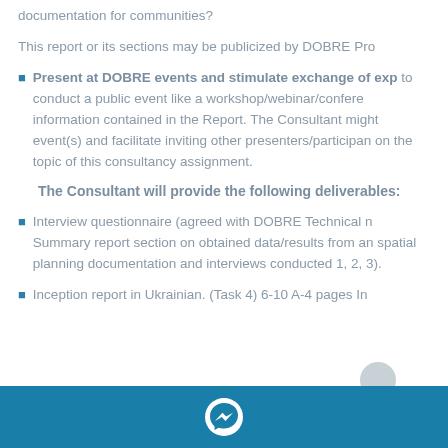documentation for communities?
This report or its sections may be publicized by DOBRE Pro
Present at DOBRE events and stimulate exchange of exp to conduct a public event like a workshop/webinar/confere information contained in the Report. The Consultant might event(s) and facilitate inviting other presenters/participan on the topic of this consultancy assignment.
The Consultant will provide the following deliverables:
Interview questionnaire (agreed with DOBRE Technical n Summary report section on obtained data/results from an spatial planning documentation and interviews conducted 1, 2, 3).
Inception report in Ukrainian. (Task 4) 6-10 A-4 pages In